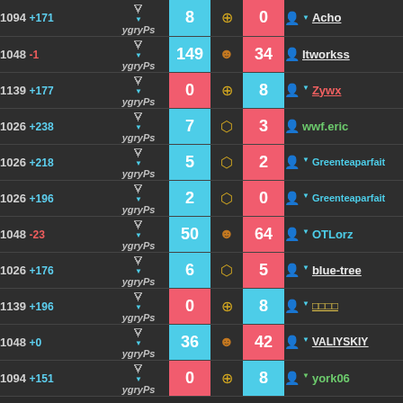| Rating | Clan | Blue Score | Mode Icon | Red Score | Player |
| --- | --- | --- | --- | --- | --- |
| 1094 +171 | ygryPs | 8 | crosshair | 0 | Acho |
| 1048 -1 | ygryPs | 149 | face | 34 | Itworkss |
| 1139 +177 | ygryPs | 0 | crosshair | 8 | Zywx |
| 1026 +238 | ygryPs | 7 | hex | 3 | wwf.eric |
| 1026 +218 | ygryPs | 5 | hex | 2 | Greenteaparfait |
| 1026 +196 | ygryPs | 2 | hex | 0 | Greenteaparfait |
| 1048 -23 | ygryPs | 50 | face | 64 | OTLorz |
| 1026 +176 | ygryPs | 6 | hex | 5 | blue-tree |
| 1139 +196 | ygryPs | 0 | crosshair | 8 | □□□□ |
| 1048 +0 | ygryPs | 36 | face | 42 | VALIYSKIY |
| 1094 +151 | ygryPs | 0 | crosshair | 8 | york06 |